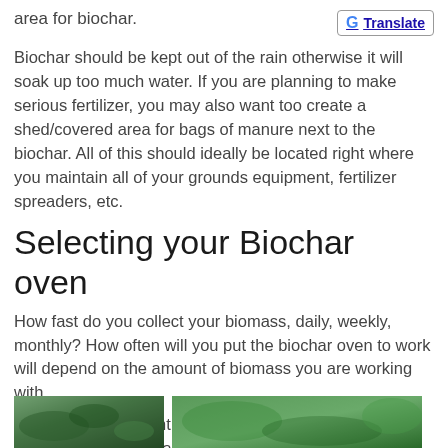area for biochar.
[Figure (logo): Google Translate button with G logo and underlined Translate text in blue]
Biochar should be kept out of the rain otherwise it will soak up too much water. If you are planning to make serious fertilizer, you may also want too create a shed/covered area for bags of manure next to the biochar. All of this should ideally be located right where you maintain all of your grounds equipment, fertilizer spreaders, etc.
Selecting your Biochar oven
How fast do you collect your biomass, daily, weekly, monthly? How often will you put the biochar oven to work will depend on the amount of biomass you are working with.
Based on the amount of biomass you are handling you can choose from a variety of Biochar Oven sizes.
[Figure (photo): Two outdoor photos at the bottom of the page showing green vegetation/nature scenes]